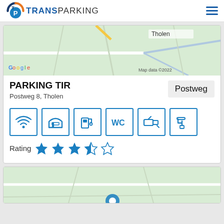TRANS PARKING
[Figure (map): Google Maps partial view showing Tholen area, light green map tiles with roads, 'Tholen' label visible, 'Google' watermark and 'Map data ©2022']
PARKING TIR
Postweg 8, Tholen
Postweg
[Figure (infographic): Six amenity icons in blue bordered boxes: WiFi, covered parking, fuel/diesel, WC, CCTV camera, water tap]
Rating ★★★½☆
[Figure (map): Second Google Maps partial view, light green map tiles, bottom of page, partially visible with a blue location pin]